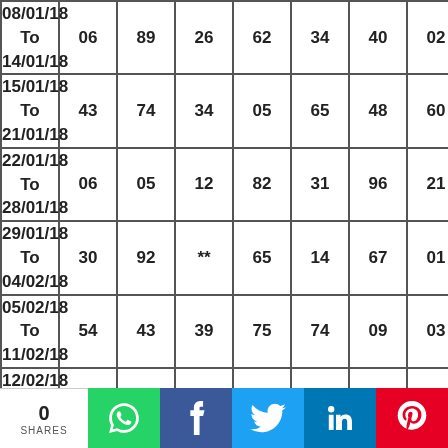| Date | Col1 | Col2 | Col3 | Col4 | Col5 | Col6 | Col7 |
| --- | --- | --- | --- | --- | --- | --- | --- |
| 08/01/18 To 14/01/18 | 06 | 89 | 26 | 62 | 34 | 40 | 02 |
| 15/01/18 To 21/01/18 | 43 | 74 | 34 | 05* | 65 | 48 | 60 |
| 22/01/18 To 28/01/18 | 06 | 05* | 12 | 82 | 31 | 96 | 21 |
| 29/01/18 To 04/02/18 | 30 | 92 | ** | 65 | 14 | 67 | 01 |
| 05/02/18 To 11/02/18 | 54 | 43 | 39 | 75 | 74 | 09 | 03 |
| 12/02/18 To 18/02/18 | 95 | 23 | 40 | 63 | 20 | 75 | 33* |
| 19/02/18 To 25/02/18 | 08 | 68 | 09 | 48 | 36 | [Refresh] |  |
0 SHARES